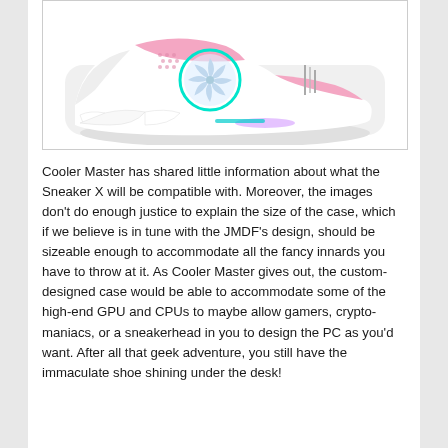[Figure (photo): A pink and white sneaker-shaped PC case design by Cooler Master (Sneaker X), shown with internals visible including a cooling fan with teal ring, springs, and mechanical components. The shoe is predominantly white and pink.]
Cooler Master has shared little information about what the Sneaker X will be compatible with. Moreover, the images don't do enough justice to explain the size of the case, which if we believe is in tune with the JMDF's design, should be sizeable enough to accommodate all the fancy innards you have to throw at it. As Cooler Master gives out, the custom-designed case would be able to accommodate some of the high-end GPU and CPUs to maybe allow gamers, crypto-maniacs, or a sneakerhead in you to design the PC as you'd want. After all that geek adventure, you still have the immaculate shoe shining under the desk!